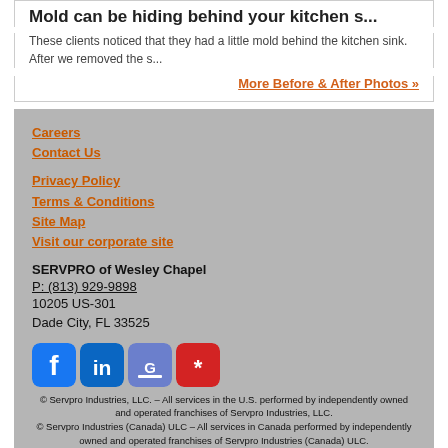Mold can be hiding behind your kitchen s...
These clients noticed that they had a little mold behind the kitchen sink. After we removed the s...
More Before & After Photos »
Careers
Contact Us
Privacy Policy
Terms & Conditions
Site Map
Visit our corporate site
SERVPRO of Wesley Chapel
P: (813) 929-9898
10205 US-301
Dade City, FL 33525
[Figure (logo): Social media icons: Facebook, LinkedIn, Google, Yelp]
© Servpro Industries, LLC. – All services in the U.S. performed by independently owned and operated franchises of Servpro Industries, LLC.
© Servpro Industries (Canada) ULC – All services in Canada performed by independently owned and operated franchises of Servpro Industries (Canada) ULC.